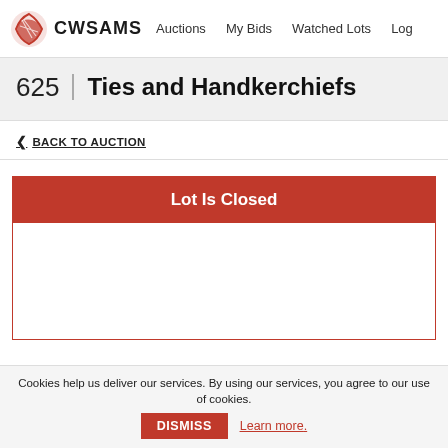CWSAMS | Auctions | My Bids | Watched Lots | Log
625 | Ties and Handkerchiefs
< BACK TO AUCTION
Lot Is Closed
Cookies help us deliver our services. By using our services, you agree to our use of cookies. DISMISS Learn more.